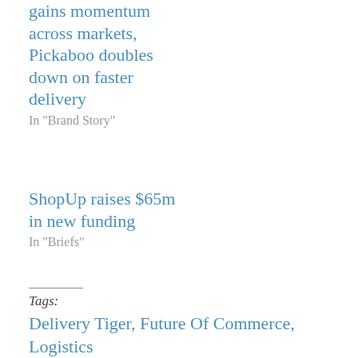gains momentum across markets, Pickaboo doubles down on faster delivery
In "Brand Story"
ShopUp raises $65m in new funding
In "Briefs"
Tags:
Delivery Tiger, Future Of Commerce, Logistics